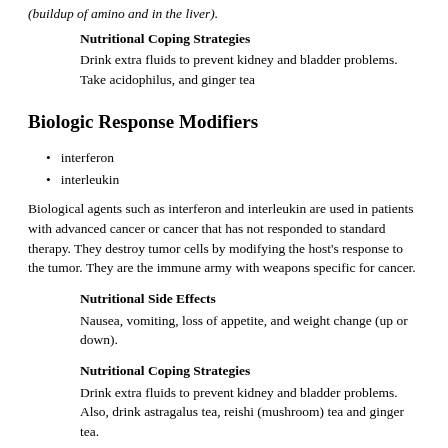(buildup of amino and in the liver).
Nutritional Coping Strategies
Drink extra fluids to prevent kidney and bladder problems. Take acidophilus, and ginger tea
Biologic Response Modifiers
interferon
interleukin
Biological agents such as interferon and interleukin are used in patients with advanced cancer or cancer that has not responded to standard therapy. They destroy tumor cells by modifying the host's response to the tumor. They are the immune army with weapons specific for cancer.
Nutritional Side Effects
Nausea, vomiting, loss of appetite, and weight change (up or down).
Nutritional Coping Strategies
Drink extra fluids to prevent kidney and bladder problems. Also, drink astragalus tea, reishi (mushroom) tea and ginger tea.